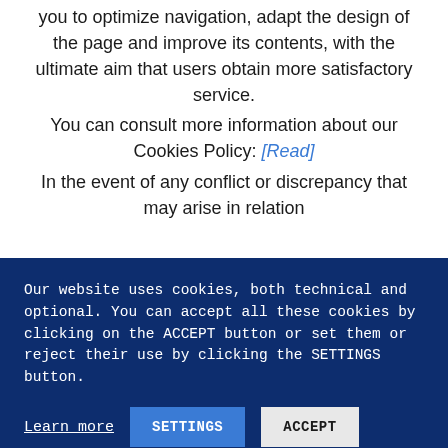you to optimize navigation, adapt the design of the page and improve its contents, with the ultimate aim that users obtain more satisfactory service.

You can consult more information about our Cookies Policy: [Read]

In the event of any conflict or discrepancy that may arise in relation
Our website uses cookies, both technical and optional. You can accept all these cookies by clicking on the ACCEPT button or set them or reject their use by clicking the SETTINGS button.
Learn more
SETTINGS
ACCEPT